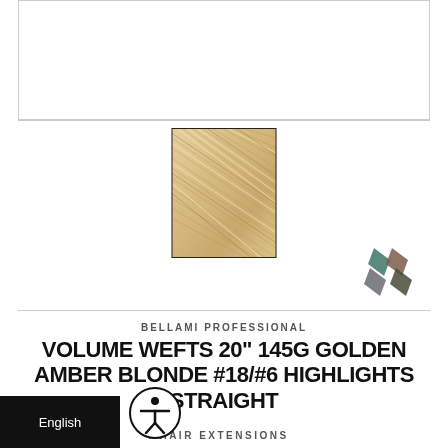[Figure (photo): White empty framed rectangle at top of page, product image placeholder]
[Figure (photo): Hair swatch showing golden amber blonde highlighted hair texture, straight strands, warm blonde with darker streaks, centered on page]
[Figure (logo): Bellami Professional logo mark - overlapping diamond/hexagon shapes in teal, brown, and grey colors]
BELLAMI PROFESSIONAL
VOLUME WEFTS 20" 145G GOLDEN AMBER BLONDE #18/#6 HIGHLIGHTS STRAIGHT
HAIR EXTENSIONS